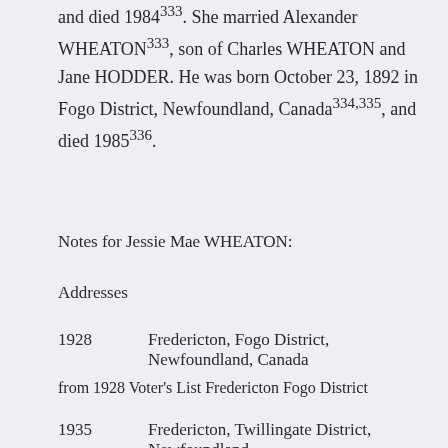and died 1984³³³. She married Alexander WHEATON³³³, son of Charles WHEATON and Jane HODDER. He was born October 23, 1892 in Fogo District, Newfoundland, Canada³³⁴˒³³⁵, and died 1985³³⁶.
Notes for Jessie Mae WHEATON:
Addresses
1928    Fredericton, Fogo District, Newfoundland, Canada
from 1928 Voter's List Fredericton Fogo District
1935    Fredericton, Twillingate District, Newfoundland,